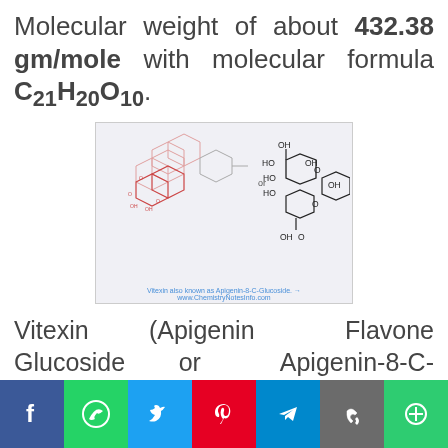Molecular weight of about 432.38 gm/mole with molecular formula C21H20O10.
[Figure (schematic): Chemical structure of Vitexin (Apigenin-8-C-Glucoside) showing two representations of the molecule with sugar moiety and flavone core, labeled with OH groups and O atoms.]
Vitexin also known as Apigenin-8-C-Glucoside. → www.ChemistryNotesInfo.com
Vitexin (Apigenin Flavone Glucoside or Apigenin-8-C-glucoside ) is obtained from Passion flower, Chaste tree and
Social share bar: Facebook, WhatsApp, Twitter, Pinterest, Telegram, Copy Link, More